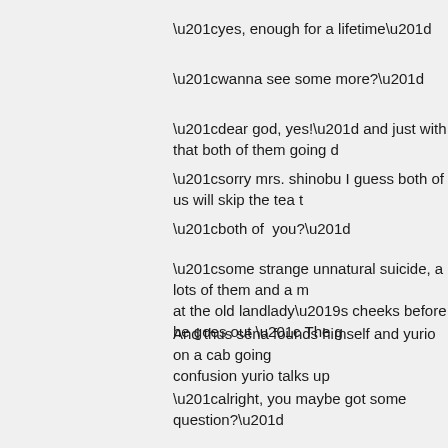“yes, enough for a lifetime”
“wanna see some more?”
“dear god, yes!” and just with that both of them going d
“sorry mrs. shinobu I guess both of us will skip the tea t
“both of  you?”
“some strange unnatural suicide, a lots of them and a m at the old landlady’s cheeks before he goes out “ The g
And thus sena founds himself and yurio on a cab going confusion yurio talks up
“alright, you maybe got some question?”
“yeah, where will we going?”
“crime scene, another one?”
“what are you ?....well, I actually thought you are privat
“I’m consulting detective, the only one in the world, I inv can’t do anything they’ll run to me” he said while take a surprised ?”
“...